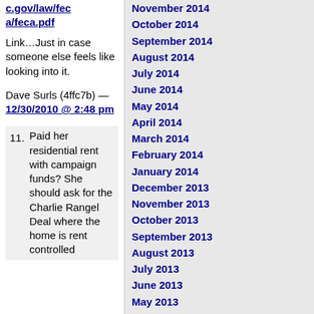c.gov/law/feca/feca.pdf
Link…Just in case someone else feels like looking into it.
Dave Surls (4ffc7b) — 12/30/2010 @ 2:48 pm
11. Paid her residential rent with campaign funds? She should ask for the Charlie Rangel Deal where the home is rent controlled
November 2014
October 2014
September 2014
August 2014
July 2014
June 2014
May 2014
April 2014
March 2014
February 2014
January 2014
December 2013
November 2013
October 2013
September 2013
August 2013
July 2013
June 2013
May 2013
April 2013
March 2013
February 2013
January 2013
December 2012
November 2012
October 2012
September 2012
August 2012
July 2012
June 2012
May 2012
April 2012